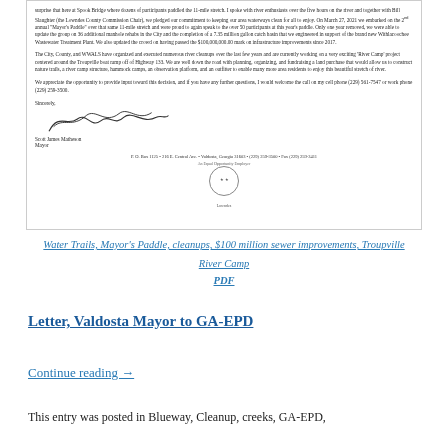[Figure (photo): Scanned letter from Valdosta Mayor to GA-EPD discussing Water Trails, Mayor's Paddle, river cleanups, $100 million sewer improvements, and Troupville River Camp. Includes signature of Scott James Matheson, Mayor, and city seal and address at bottom.]
Water Trails, Mayor's Paddle, cleanups, $100 million sewer improvements, Troupville River Camp
PDF
Letter, Valdosta Mayor to GA-EPD
Continue reading →
This entry was posted in Blueway, Cleanup, creeks, GA-EPD,